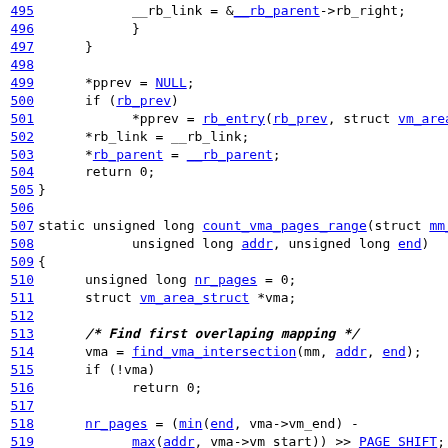495   __rb_link = &__rb_parent->rb_right;
496       }
497   }
498
499   *pprev = NULL;
500   if (rb_prev)
501       *pprev = rb_entry(rb_prev, struct vm_area_struc
502   *rb_link = __rb_link;
503   *rb_parent = __rb_parent;
504   return 0;
505 }
506
507 static unsigned long count_vma_pages_range(struct mm_
508       unsigned long addr, unsigned long end)
509 {
510   unsigned long nr_pages = 0;
511   struct vm_area_struct *vma;
512
513   /* Find first overlaping mapping */
514   vma = find_vma_intersection(mm, addr, end);
515   if (!vma)
516       return 0;
517
518   nr_pages = (min(end, vma->vm_end) -
519       max(addr, vma->vm_start)) >> PAGE_SHIFT;